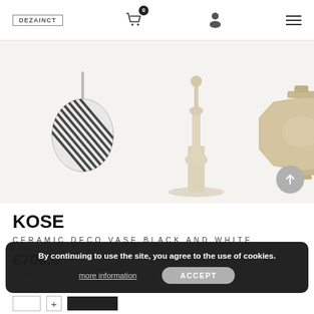DEZAINCT logo, cart (0), user icon, hamburger menu
[Figure (photo): Three decorative vases shown against a light background: a striped black and white round vase on a stick, a tall pale wood candle-holder style vase, and a wide flat pale wood lantern-shaped vase. A grey circular scroll-up arrow button is visible at bottom right.]
KOSE
CERAMIC DECO VASE BLACK AND WHITE
€708.0
*VAT Included. See information
By continuing to use the site, you agree to the use of cookies. more information ACCEPT